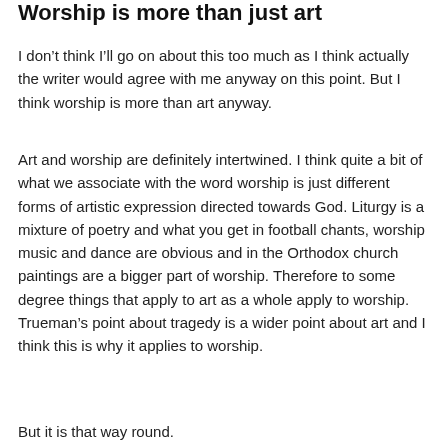Worship is more than just art
I don’t think I’ll go on about this too much as I think actually the writer would agree with me anyway on this point. But I think worship is more than art anyway.
Art and worship are definitely intertwined. I think quite a bit of what we associate with the word worship is just different forms of artistic expression directed towards God. Liturgy is a mixture of poetry and what you get in football chants, worship music and dance are obvious and in the Orthodox church paintings are a bigger part of worship. Therefore to some degree things that apply to art as a whole apply to worship. Trueman’s point about tragedy is a wider point about art and I think this is why it applies to worship.
But it is that way round.